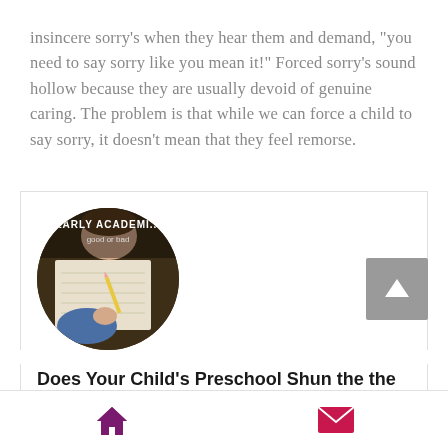insincere sorry’s when they hear them and demand, “you need to say sorry like you mean it!” Forced sorry’s sound hollow because they are usually devoid of genuine caring. The problem is that while we can force a child to say sorry, it doesn’t mean that they feel remorse.
[Figure (photo): Circular image of a child writing, with text overlay reading 'EARLY ACADEMICS good or bad']
Does Your Child’s Preschool Shun the the Latest Research in Early Learning and Neuroscience?
Mckennah Meyers
[Figure (other): Bottom navigation bar with home icon and email/envelope icon]